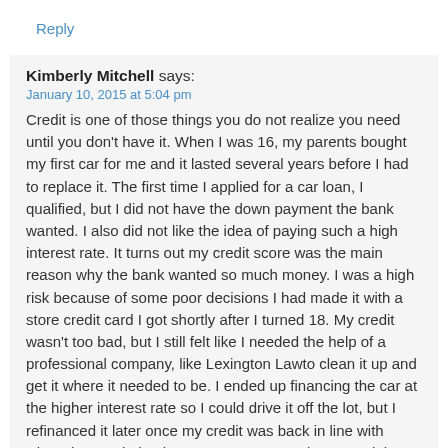Reply
Kimberly Mitchell says:
January 10, 2015 at 5:04 pm
Credit is one of those things you do not realize you need until you don't have it. When I was 16, my parents bought my first car for me and it lasted several years before I had to replace it. The first time I applied for a car loan, I qualified, but I did not have the down payment the bank wanted. I also did not like the idea of paying such a high interest rate. It turns out my credit score was the main reason why the bank wanted so much money. I was a high risk because of some poor decisions I had made it with a store credit card I got shortly after I turned 18. My credit wasn't too bad, but I still felt like I needed the help of a professional company, like Lexington Lawto clean it up and get it where it needed to be. I ended up financing the car at the higher interest rate so I could drive it off the lot, but I refinanced it later once my credit was back in line with where he needed to be. My payments are lower, and the service has more than paid for itself in the money that I saved.